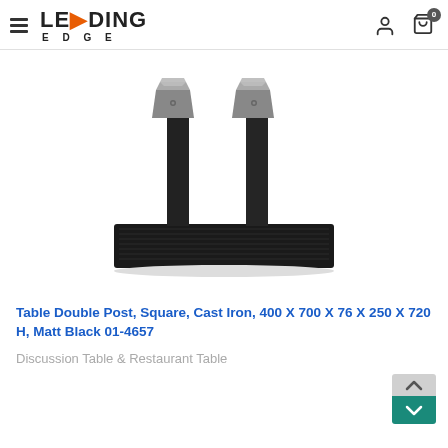Leading Edge — navigation header with logo, hamburger menu, user icon, and cart with 0 items
[Figure (photo): Product photo of a black cast iron table base with double square posts on a wide rectangular base plate, photographed on white background]
Table Double Post, Square, Cast Iron, 400 X 700 X 76 X 250 X 720 H, Matt Black 01-4657
Discussion Table & Restaurant Table